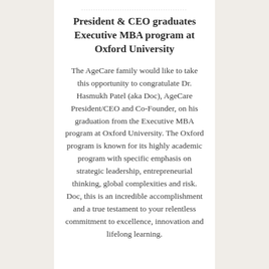President & CEO graduates Executive MBA program at Oxford University
The AgeCare family would like to take this opportunity to congratulate Dr. Hasmukh Patel (aka Doc), AgeCare President/CEO and Co-Founder, on his graduation from the Executive MBA program at Oxford University. The Oxford program is known for its highly academic program with specific emphasis on strategic leadership, entrepreneurial thinking, global complexities and risk. Doc, this is an incredible accomplishment and a true testament to your relentless commitment to excellence, innovation and lifelong learning.